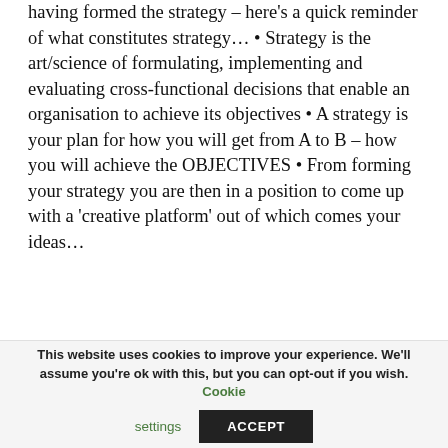having formed the strategy – here's a quick reminder of what constitutes strategy… • Strategy is the art/science of formulating, implementing and evaluating cross-functional decisions that enable an organisation to achieve its objectives • A strategy is your plan for how you will get from A to B – how you will achieve the OBJECTIVES • From forming your strategy you are then in a position to come up with a 'creative platform' out of which comes your ideas…
This website uses cookies to improve your experience. We'll assume you're ok with this, but you can opt-out if you wish. Cookie settings ACCEPT